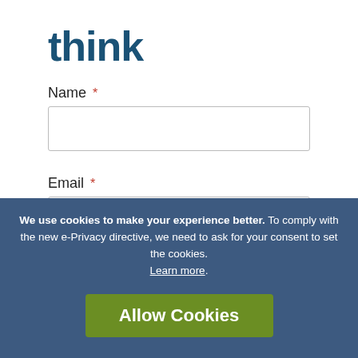think
Name *
Email *
Website
We use cookies to make your experience better. To comply with the new e-Privacy directive, we need to ask for your consent to set the cookies. Learn more.
Allow Cookies
Comment